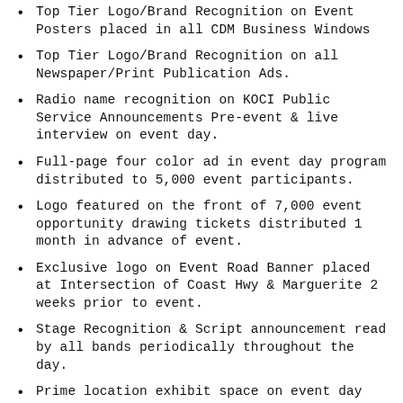Top Tier Logo/Brand Recognition on Event Posters placed in all CDM Business Windows
Top Tier Logo/Brand Recognition on all Newspaper/Print Publication Ads.
Radio name recognition on KOCI Public Service Announcements Pre-event & live interview on event day.
Full-page four color ad in event day program distributed to 5,000 event participants.
Logo featured on the front of 7,000 event opportunity drawing tickets distributed 1 month in advance of event.
Exclusive logo on Event Road Banner placed at Intersection of Coast Hwy & Marguerite 2 weeks prior to event.
Stage Recognition & Script announcement read by all bands periodically throughout the day.
Prime location exhibit space on event day (Includes: Premium Tent, Table, Linen & Chairs).
Opportunity to place swag bags or banners in Beer &